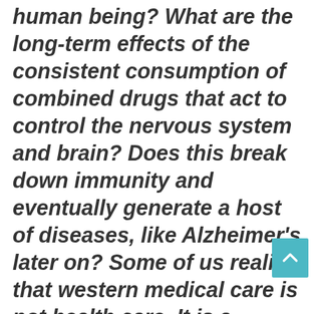human being? What are the long-term effects of the consistent consumption of combined drugs that act to control the nervous system and brain? Does this break down immunity and eventually generate a host of diseases, like Alzheimer's later on? Some of us realize that western medical care is not health care. It is a consumer product marketed to the masses in order to be immensely profitable corporations, and is not designed to heal people. These multinational